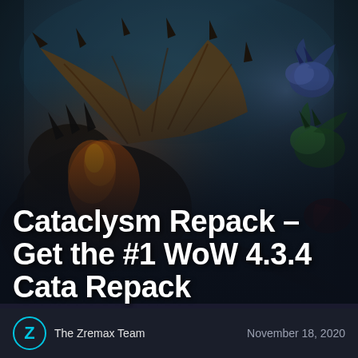[Figure (illustration): Fantasy dragon battle scene — a large dark armored dragon with fiery orange mane on the left faces three smaller colorful dragons (blue, green, red) on the right, set against a dark teal/blue sky background.]
Cataclysm Repack – Get the #1 WoW 4.3.4 Cata Repack
The Zremax Team
November 18, 2020